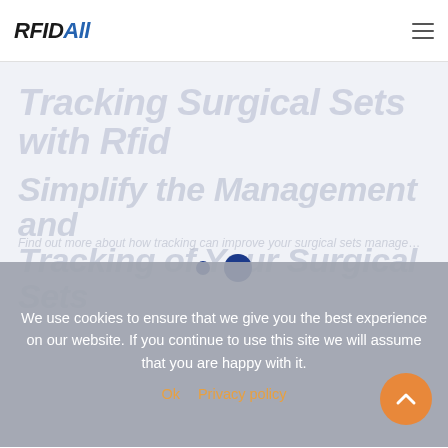RFID ALL
Tracking Surgical Sets with Rfid
Simplify the Management and Tracking of Your Surgical Sets
We use cookies to ensure that we give you the best experience on our website. If you continue to use this site we will assume that you are happy with it.
Ok   Privacy policy